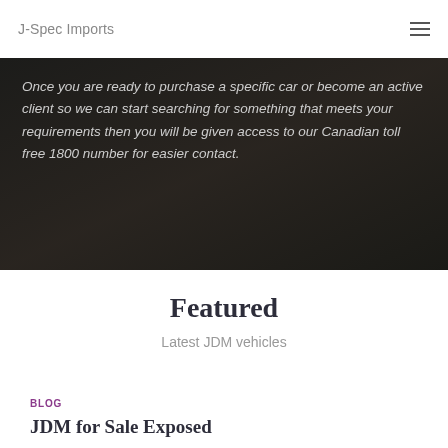J-Spec Imports
Once you are ready to purchase a specific car or become an active client so we can start searching for something that meets your requirements then you will be given access to our Canadian toll free 1800 number for easier contact.
Featured
Latest JDM vehicles
BLOG
JDM for Sale Exposed